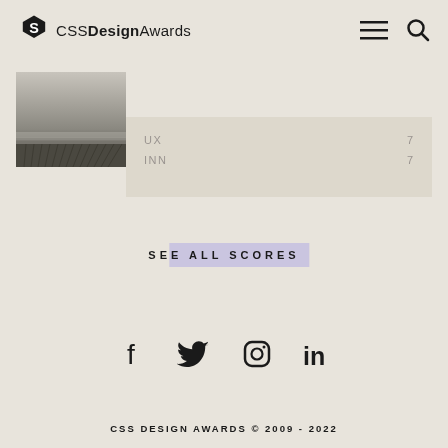[Figure (logo): CSS Design Awards logo with stylized S icon and text]
[Figure (screenshot): Card row showing a dark landscape photo thumbnail with UX and INN labels and scores of 7 and 7]
SEE ALL SCORES
[Figure (infographic): Social media icons: Facebook, Twitter, Instagram, LinkedIn]
CSS DESIGN AWARDS © 2009 - 2022